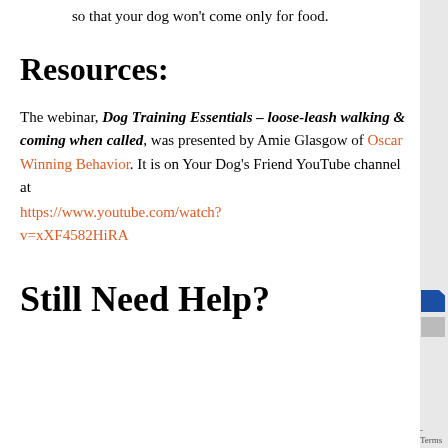so that your dog won't come only for food.
Resources:
The webinar, Dog Training Essentials – loose-leash walking & coming when called, was presented by Amie Glasgow of Oscar Winning Behavior. It is on Your Dog's Friend YouTube channel at https://www.youtube.com/watch?v=xXF4582HiRA
Still Need Help?